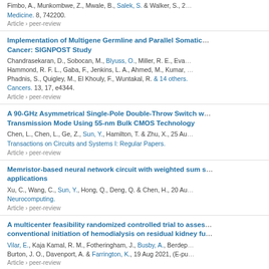Fimbo, A., Munkombwe, Z., Mwale, B., Salek, S. & Walker, S., 2... Medicine. 8, 742200. Article › peer-review
Implementation of Multigene Germline and Parallel Somatic ... Cancer: SIGNPOST Study
Chandrasekaran, D., Sobocan, M., Blyuss, O., Miller, R. E., Eva... Hammond, R. F. L., Gaba, F., Jenkins, L. A., Ahmed, M., Kumar, ... Phadnis, S., Quigley, M., El Khouly, F., Wuntakal, R. & 14 others. Cancers. 13, 17, e4344. Article › peer-review
A 90-GHz Asymmetrical Single-Pole Double-Throw Switch w... Transmission Mode Using 55-nm Bulk CMOS Technology
Chen, L., Chen, L., Ge, Z., Sun, Y., Hamilton, T. & Zhu, X., 25 Au... Transactions on Circuits and Systems I: Regular Papers. Article › peer-review
Memristor-based neural network circuit with weighted sum s... applications
Xu, C., Wang, C., Sun, Y., Hong, Q., Deng, Q. & Chen, H., 20 Au... Neurocomputing. Article › peer-review
A multicenter feasibility randomized controlled trial to asses... conventional initiation of hemodialysis on residual kidney fu...
Vilar, E., Kaja Kamal, R. M., Fotheringham, J., Busby, A., Berdep... Burton, J. O., Davenport, A. & Farrington, K., 19 Aug 2021, (E-pu... Article › peer-review
High-Velocity Impacts of Pyrophoric Alloy Fragments on Thi...
Santamaria Ferraro, E., Seidl, M., De Vuyst, T. & Faderl, N., 18 A... 14, 16, e4649. Article › peer-review
Algebraic Bethe Ansatz for spinor R-matrices